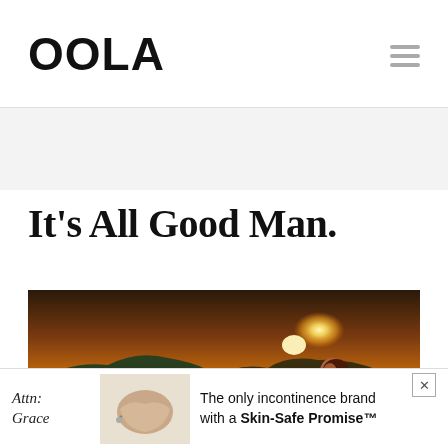OOLA
It's All Good Man.
[Figure (photo): Woman sitting outdoors on a hillside with green vegetation, face tilted upward with eyes closed, backlit by a golden sunset over mountains. Warm orange and yellow tones.]
Attn: Grace   The only incontinence brand with a Skin-Safe Promise™